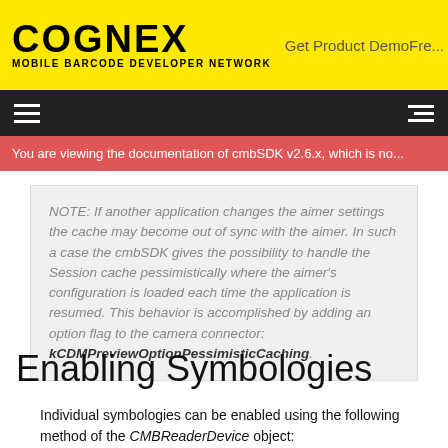COGNEX MOBILE BARCODE DEVELOPER NETWORK
Get Product DemoFre...
You are viewing the documentation of cmbSDK v2.6.x, which is no...
NOTE: If another application changes the aimer settings the cache may become out of sync with the aimer. In such a case the cmbSDK gives the possibility to handle the Session cache pessimistically where the aimer's configuration is loaded each time the application is resumed. This behavior is accomplished by adding an option flag to the camera connector: kCDMPreviewOptionPessimisticCaching.
Enabling Symbologies
Individual symbologies can be enabled using the following method of the CMBReaderDevice object: